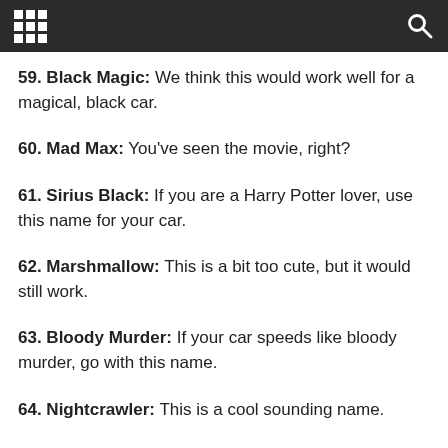59. Black Magic: We think this would work well for a magical, black car.
60. Mad Max: You've seen the movie, right?
61. Sirius Black: If you are a Harry Potter lover, use this name for your car.
62. Marshmallow: This is a bit too cute, but it would still work.
63. Bloody Murder: If your car speeds like bloody murder, go with this name.
64. Nightcrawler: This is a cool sounding name.